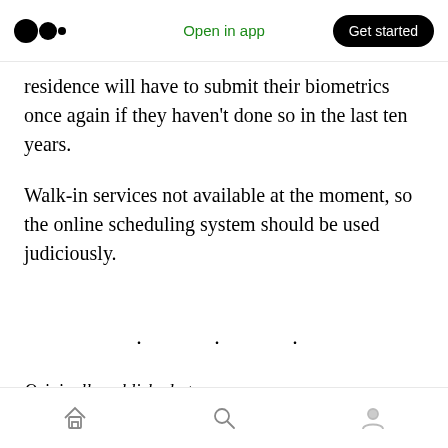Open in app  Get started
residence will have to submit their biometrics once again if they haven't done so in the last ten years.
Walk-in services not available at the moment, so the online scheduling system should be used judiciously.
· · ·
Originally published at https://www.betterplaceimmigration.com.
Home  Search  Profile